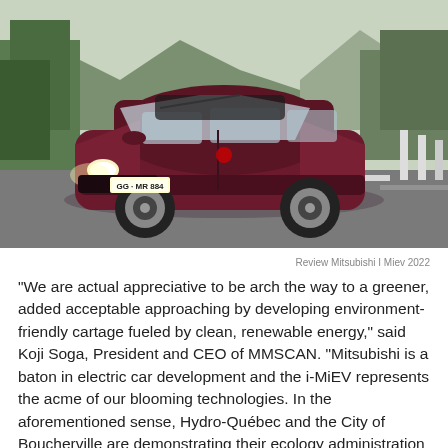[Figure (photo): A dark maroon/burgundy Mitsubishi i-MiEV electric car with license plate 'GG MR 884' driving on a road with trees and mountains in the background. The car has its headlights on.]
Review Mitsubishi I Miev 2022
“We are actual appreciative to be arch the way to a greener, added acceptable approaching by developing environment-friendly cartage fueled by clean, renewable energy,” said Koji Soga, President and CEO of MMSCAN. “Mitsubishi is a baton in electric car development and the i-MiEV represents the acme of our blooming technologies. In the aforementioned sense, Hydro-Québec and the City of Boucherville are demonstrating their ecology administration by accommodating in this different